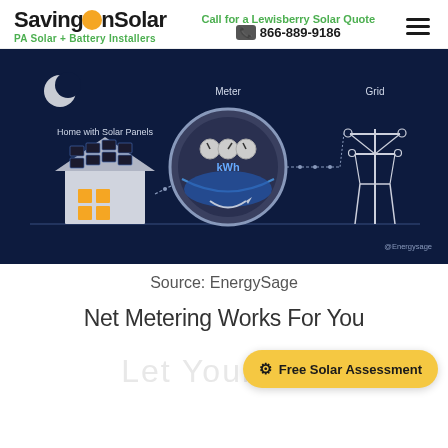SavingOnSolar | Call for a Lewisberry Solar Quote | 866-889-9186 | PA Solar + Battery Installers
[Figure (infographic): Net metering diagram on dark navy background showing: a house with solar panels on the left labeled 'Home with Solar Panels', a crescent moon above the house, a large circular meter in the center labeled 'Meter' showing kWh with blue dome, arrows indicating energy flow between house and meter and grid, a power transmission tower on the right labeled 'Grid', and '@Energysage' credit in bottom right.]
Source: EnergySage
Net Metering Works For You
Let Your M...
Free Solar Assessment